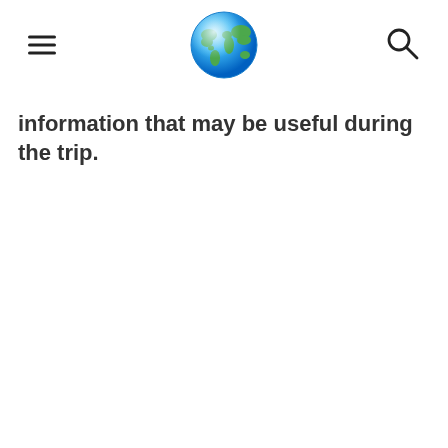[hamburger menu] [globe icon] [search icon]
information that may be useful during the trip.